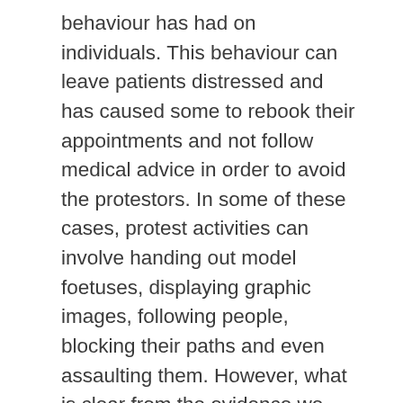behaviour has had on individuals. This behaviour can leave patients distressed and has caused some to rebook their appointments and not follow medical advice in order to avoid the protestors. In some of these cases, protest activities can involve handing out model foetuses, displaying graphic images, following people, blocking their paths and even assaulting them. However, what is clear from the evidence we gathered is that these activities are not the norm, and predominantly, anti-abortion activities are more passive in nature. The main activities reported to us that take place during protests include praying, displaying banners and handing out leaflets. There were relatively few reports of the more aggressive activities described above. Nevertheless, I recognise that all anti-abortion activities can have an adverse effect, and I